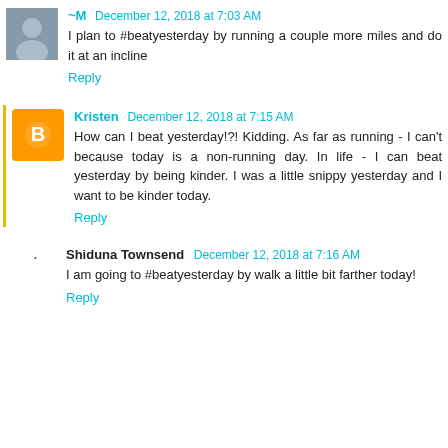~M December 12, 2018 at 7:03 AM
I plan to #beatyesterday by running a couple more miles and do it at an incline
Reply
Kristen December 12, 2018 at 7:15 AM
How can I beat yesterday!?! Kidding. As far as running - I can't because today is a non-running day. In life - I can beat yesterday by being kinder. I was a little snippy yesterday and I want to be kinder today.
Reply
Shiduna Townsend December 12, 2018 at 7:16 AM
I am going to #beatyesterday by walk a little bit farther today!
Reply